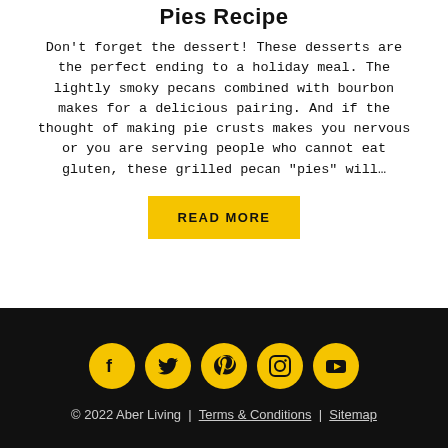Pies Recipe
Don't forget the dessert! These desserts are the perfect ending to a holiday meal. The lightly smoky pecans combined with bourbon makes for a delicious pairing. And if the thought of making pie crusts makes you nervous or you are serving people who cannot eat gluten, these grilled pecan “pies” will…
READ MORE
[Figure (infographic): Social media icons row: Facebook, Twitter, Pinterest, Instagram, YouTube — all yellow circles on black background]
© 2022 Aber Living | Terms & Conditions | Sitemap